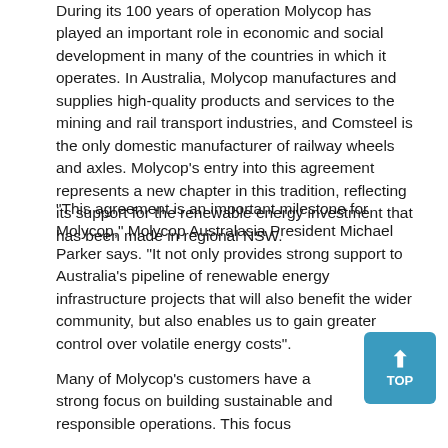During its 100 years of operation Molycop has played an important role in economic and social development in many of the countries in which it operates. In Australia, Molycop manufactures and supplies high-quality products and services to the mining and rail transport industries, and Comsteel is the only domestic manufacturer of railway wheels and axles. Molycop's entry into this agreement represents a new chapter in this tradition, reflecting its support for the renewable energy investment that has been made in regional NSW.
“This agreement is an important milestone for Molycop,” Molycop Australasia President Michael Parker says. “It not only provides strong support to Australia’s pipeline of renewable energy infrastructure projects that will also benefit the wider community, but also enables us to gain greater control over volatile energy costs”.
Many of Molycop’s customers have a strong focus on building sustainable and responsible operations. This focus